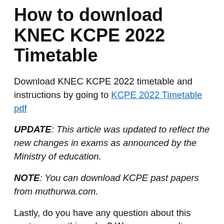How to download KNEC KCPE 2022 Timetable
Download KNEC KCPE 2022 timetable and instructions by going to KCPE 2022 Timetable pdf
UPDATE: This article was updated to reflect the new changes in exams as announced by the Ministry of education.
NOTE: You can download KCPE past papers from muthurwa.com.
Lastly, do you have any question about this post or something else? We are responding. Ask us a